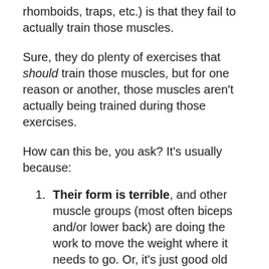rhomboids, traps, etc.) is that they fail to actually train those muscles.
Sure, they do plenty of exercises that should train those muscles, but for one reason or another, those muscles aren't actually being trained during those exercises.
How can this be, you ask? It's usually because:
Their form is terrible, and other muscle groups (most often biceps and/or lower back) are doing the work to move the weight where it needs to go. Or, it's just good old jerky, swinging, heave-ho style full body momentum that's moving the weight from point A to point B. Either